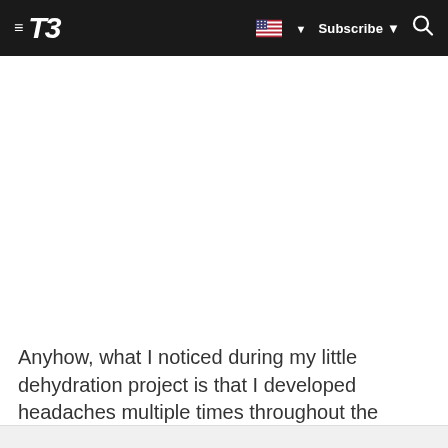T3 — Subscribe
Anyhow, what I noticed during my little dehydration project is that I developed headaches multiple times throughout the week in the afternoons. It didn't happen every day, but on several days I had this throbbing, pulsating sensation in my